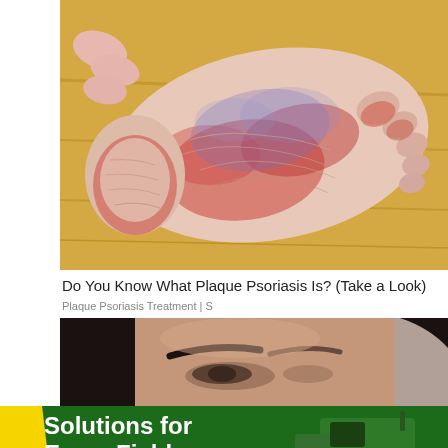[Figure (photo): Close-up photo of a human foot sole showing red, inflamed, and scaly skin characteristic of plaque psoriasis, held against a yellow wooden background.]
Do You Know What Plaque Psoriasis Is? (Take a Look)
Plaque Psoriasis Treatment | S
[Figure (photo): Close-up photo of a young woman's face with dark hair and prominent eyebrows, looking slightly downward.]
[Figure (infographic): Green advertisement banner with yellow diagonal stripe on the left and text 'Solutions for Every Field.' with a John Deere combine harvester image on the right.]